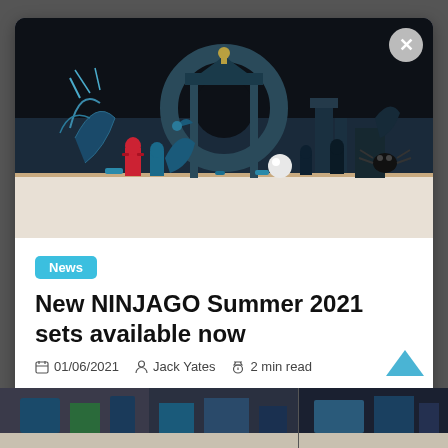[Figure (photo): LEGO NINJAGO Summer 2021 sets displayed on a table, featuring teal and dark colored ninja figures, dragons, temple structures, and various playsets against a dark background]
News
New NINJAGO Summer 2021 sets available now
01/06/2021   Jack Yates   2 min read
[Figure (photo): Partial view of additional LEGO images at the bottom of the page]